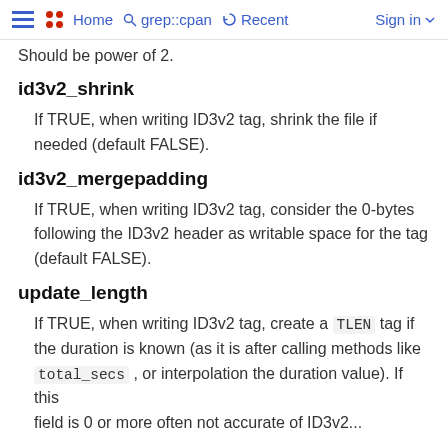Home   grep::cpan   Recent   Sign in
Should be power of 2.
id3v2_shrink
If TRUE, when writing ID3v2 tag, shrink the file if needed (default FALSE).
id3v2_mergepadding
If TRUE, when writing ID3v2 tag, consider the 0-bytes following the ID3v2 header as writable space for the tag (default FALSE).
update_length
If TRUE, when writing ID3v2 tag, create a TLEN tag if the duration is known (as it is after calling methods like total_secs , or interpolation the duration value). If this field is 0 or more often not accurate of ID3v2...